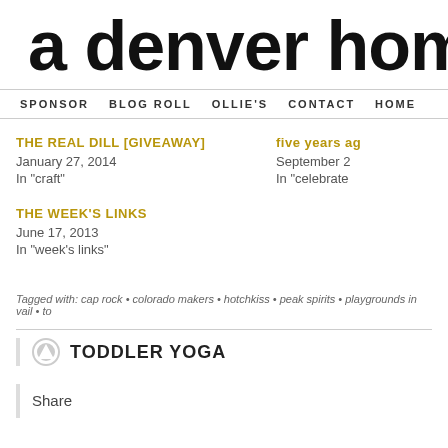a denver home c
SPONSOR  BLOG ROLL  OLLIE'S  CONTACT  HOME
THE REAL DILL [GIVEAWAY]
January 27, 2014
In "craft"
five years ag
September 2
In "celebrate
THE WEEK'S LINKS
June 17, 2013
In "week's links"
Tagged with: cap rock • colorado makers • hotchkiss • peak spirits • playgrounds in vail • to
TODDLER YOGA
Share